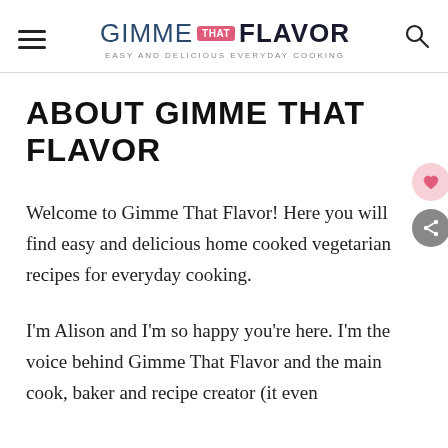GIMME THAT FLAVOR — EASY AND DELICIOUS EVERYDAY COOKING
ABOUT GIMME THAT FLAVOR
Welcome to Gimme That Flavor! Here you will find easy and delicious home cooked vegetarian recipes for everyday cooking.
I'm Alison and I'm so happy you're here. I'm the voice behind Gimme That Flavor and the main cook, baker and recipe creator (it even